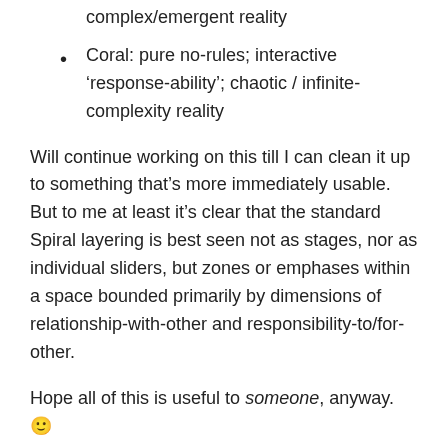complex/emergent reality
Coral: pure no-rules; interactive ‘response-ability’; chaotic / infinite-complexity reality
Will continue working on this till I can clean it up to something that’s more immediately usable. But to me at least it’s clear that the standard Spiral layering is best seen not as stages, nor as individual sliders, but zones or emphases within a space bounded primarily by dimensions of relationship-with-other and responsibility-to/for-other.
Hope all of this is useful to someone, anyway. 🙂